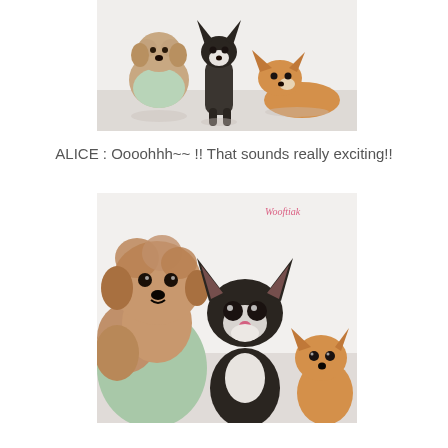[Figure (photo): Three dogs posed together: a fluffy brown/tan poodle-mix wearing a light mint green sweater on the left, a black and white chihuahua standing in the center, and a tan/golden chihuahua lying down on the right. Light background.]
ALICE : Oooohhh~~ !! That sounds really exciting!!
[Figure (photo): Close-up of three dogs: a fluffy brown poodle-mix in a mint green sweater on the left, a black and white long-haired chihuahua in the center looking directly at camera, and a small golden/tan chihuahua on the right. Watermark 'Wooftiak' visible in top right corner. Light background.]